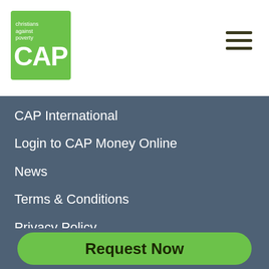[Figure (logo): Christians Against Poverty (CAP) logo — green square with white text 'christians against poverty' and large white 'CAP' letters]
CAP International
Login to CAP Money Online
News
Terms & Conditions
Privacy Policy
Whistleblower Policy
Sitemap
Get your free book!
Request Now